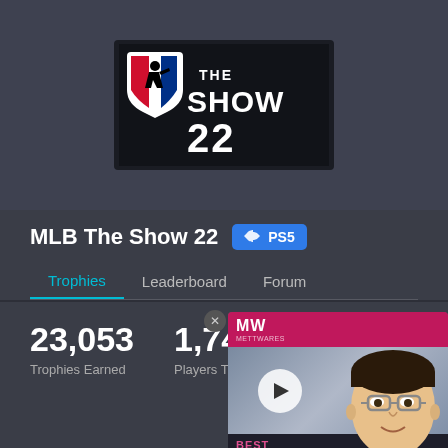[Figure (logo): MLB The Show 22 game logo on dark background with MLB silhouette batter icon]
MLB The Show 22
[Figure (logo): PS5 badge button in blue]
Trophies  Leaderboard  Forum
23,053
Trophies Earned
1,74
Players Tr
[Figure (other): MW Best Math Games advertisement overlay with play button and cartoon face]